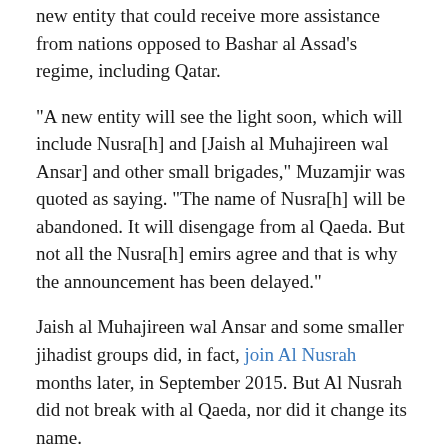new entity that could receive more assistance from nations opposed to Bashar al Assad’s regime, including Qatar.
“A new entity will see the light soon, which will include Nusra[h] and [Jaish al Muhajireen wal Ansar] and other small brigades,” Muzamjir was quoted as saying. “The name of Nusra[h] will be abandoned. It will disengage from al Qaeda. But not all the Nusra[h] emirs agree and that is why the announcement has been delayed.”
Jaish al Muhajireen wal Ansar and some smaller jihadist groups did, in fact, join Al Nusrah months later, in September 2015. But Al Nusrah did not break with al Qaeda, nor did it change its name.
Shortly after Muzamjir’s comments were published, Abu Ammar mocked Reuters for citing him as someone who was in the know. “As if Muzamjir can succeed in guiding the people,” Abu Ammar wrote on a Twitter feed that has since been suspended. (His latest comments were posted on a new feed.)
Abu Ammar also had Abu Rumman in his sights, calling him a liar and...